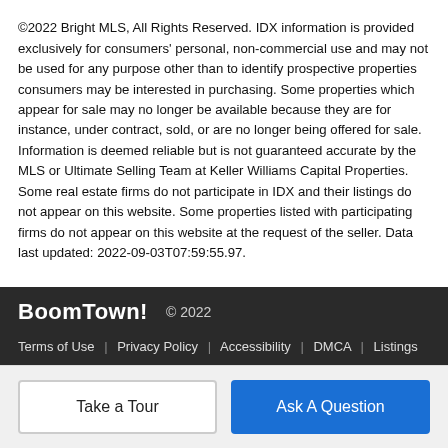©2022 Bright MLS, All Rights Reserved. IDX information is provided exclusively for consumers' personal, non-commercial use and may not be used for any purpose other than to identify prospective properties consumers may be interested in purchasing. Some properties which appear for sale may no longer be available because they are for instance, under contract, sold, or are no longer being offered for sale. Information is deemed reliable but is not guaranteed accurate by the MLS or Ultimate Selling Team at Keller Williams Capital Properties. Some real estate firms do not participate in IDX and their listings do not appear on this website. Some properties listed with participating firms do not appear on this website at the request of the seller. Data last updated: 2022-09-03T07:59:55.97.
BoomTown! © 2022 | Terms of Use | Privacy Policy | Accessibility | DMCA | Listings Sitemap
Take a Tour | Ask A Question